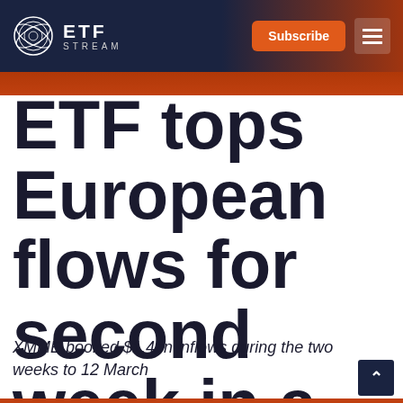ETF STREAM
ETF tops European flows for second week in a row
XMME booked $1.4bn inflows during the two weeks to 12 March